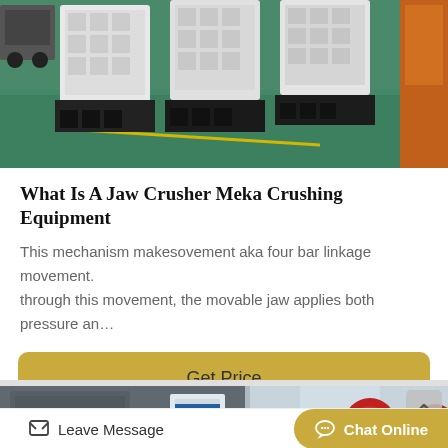[Figure (photo): Industrial jaw crusher machines in a factory setting with green painted floor, white and black metal crusher units lined up]
What Is A Jaw Crusher Meka Crushing Equipment
This mechanism makesovement aka four bar linkage movement. through this movement, the movable jaw applies both pressure an…
[Figure (other): Button: Get Price on a golden/yellow rounded rectangle]
[Figure (photo): Industrial crushing equipment machinery in a factory, featuring red flywheel/pulley visible]
Leave Message   Chat Online